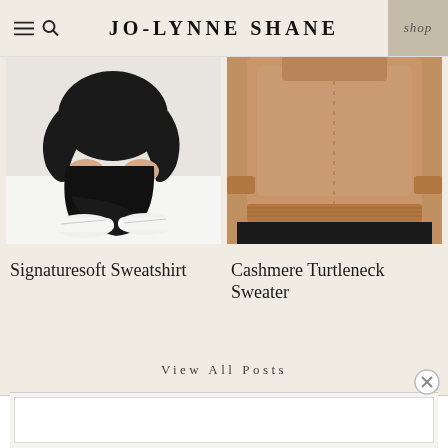JO-LYNNE SHANE
[Figure (photo): Person seated cross-legged wearing all black outfit and white sneakers on white background]
[Figure (photo): Torso of a person wearing a camel/tan cashmere turtleneck sweater with black pants]
Signaturesoft Sweatshirt
Cashmere Turtleneck Sweater
View All Posts